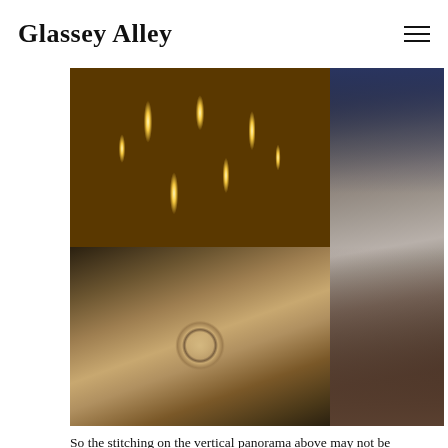Glassey Alley
[Figure (photo): Grid of four cathedral photos: top-left shows lit candles in warm golden light, top-right and bottom-right form a tall vertical image of a Gothic cathedral interior with high vaulted arches, stained glass windows, and rows of chairs, bottom-left shows a stone carved rose window portal with ornate Gothic tracery in sepia tones.]
So the stitching on the vertical panorama above may not be perfect but it gives some sense of the scale of the building. Just ignore the chopped-stone, column and the